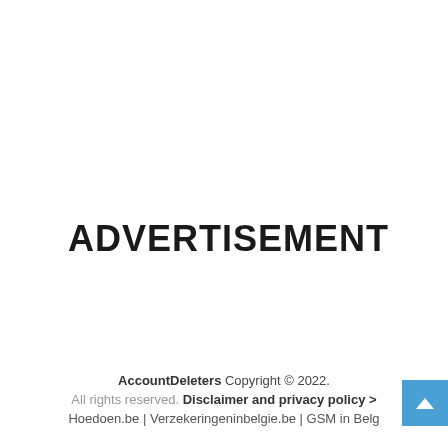ADVERTISEMENT
AccountDeleters Copyright © 2022. All rights reserved. Disclaimer and privacy policy > Hoedoen.be | Verzekeringeninbelgie.be | GSM in Belg